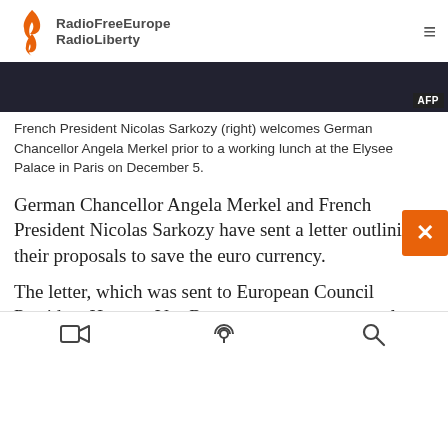RadioFreeEurope RadioLiberty
[Figure (photo): Black and white photo of French President Nicolas Sarkozy and German Chancellor Angela Merkel, with AFP watermark in bottom right corner.]
French President Nicolas Sarkozy (right) welcomes German Chancellor Angela Merkel prior to a working lunch at the Elysee Palace in Paris on December 5.
German Chancellor Angela Merkel and French President Nicolas Sarkozy have sent a letter outlining their proposals to save the euro currency.
The letter, which was sent to European Council President Herman Van Rompuy, sums up proposals outlined by the two leaders on December 5.
Video | Podcast | Search